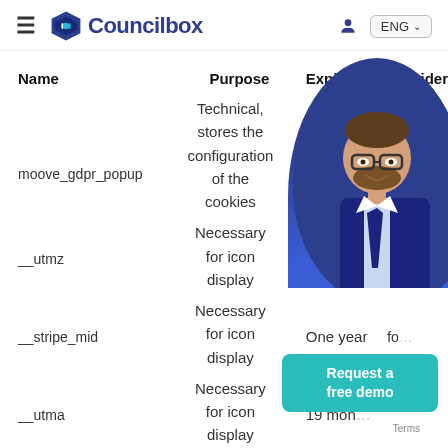Councilbox — ENG
| Name | Purpose | Expiration | Provider |
| --- | --- | --- | --- |
| moove_gdpr_popup | Technical, stores the configuration of the cookies | One year | councilbox |
| __utmz | Necessary for icon display | 34 days |  |
| __stripe_mid | Necessary for icon display | One year | fo... |
| __utma | Necessary for icon display | 19 mon... |  |
[Figure (photo): Man in suit smiling, overlaid on the right side of the page]
Request a free demo
Terms